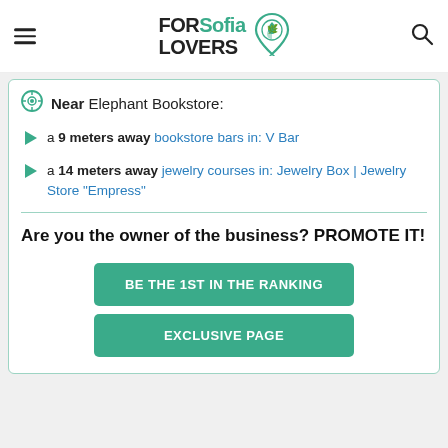FORSofia LOVERS
Near Elephant Bookstore:
a 9 meters away bookstore bars in: V Bar
a 14 meters away jewelry courses in: Jewelry Box | Jewelry Store "Empress"
Are you the owner of the business? PROMOTE IT!
BE THE 1ST IN THE RANKING
EXCLUSIVE PAGE